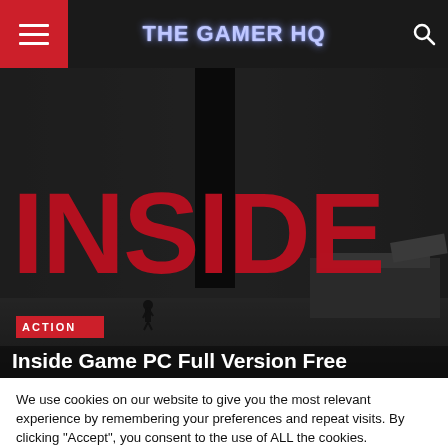THE GAMER HQ
[Figure (screenshot): INSIDE game promotional image showing dark atmospheric side-scrolling scene with large red INSIDE text logo and a small character silhouette.]
Inside Game PC Full Version Free
We use cookies on our website to give you the most relevant experience by remembering your preferences and repeat visits. By clicking “Accept”, you consent to the use of ALL the cookies.
Do not sell my personal information.